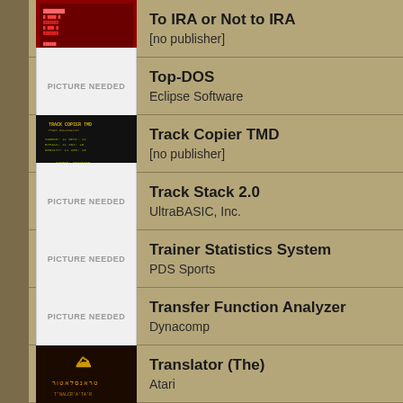To IRA or Not to IRA
[no publisher]
Top-DOS
Eclipse Software
Track Copier TMD
[no publisher]
Track Stack 2.0
UltraBASIC, Inc.
Trainer Statistics System
PDS Sports
Transfer Function Analyzer
Dynacomp
Translator (The)
Atari